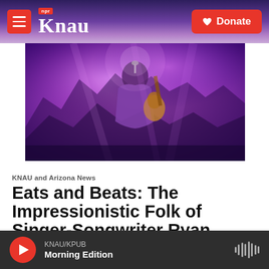KNAU NPR - Donate
[Figure (photo): Concert photo of a guitarist performing on stage with purple and pink lighting effects]
KNAU and Arizona News
Eats and Beats: The Impressionistic Folk of Singer-Songwriter Ryan David Orr
Ryan Heinsius, February 2, 2018
KNAU/KPUB Morning Edition